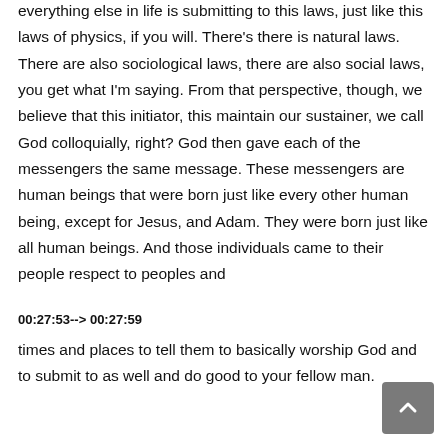everything else in life is submitting to this laws, just like this laws of physics, if you will. There's there is natural laws. There are also sociological laws, there are also social laws, you get what I'm saying. From that perspective, though, we believe that this initiator, this maintain our sustainer, we call God colloquially, right? God then gave each of the messengers the same message. These messengers are human beings that were born just like every other human being, except for Jesus, and Adam. They were born just like all human beings. And those individuals came to their people respect to peoples and
00:27:53--> 00:27:59
times and places to tell them to basically worship God and to submit to as well and do good to your fellow man.